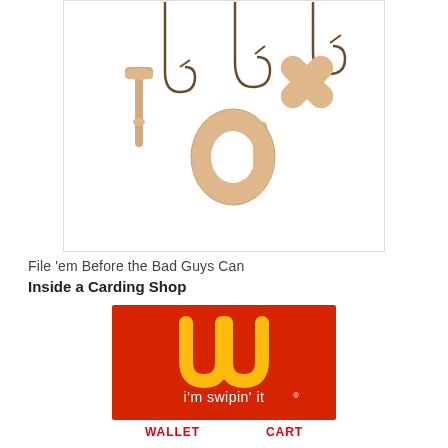[Figure (photo): Wooden letter tiles spelling 'tax' hanging on fishing hooks against a white background, suggesting tax fraud or phishing.]
File 'em Before the Bad Guys Can
Inside a Carding Shop
[Figure (logo): McDonald's logo parody on red background reading 'i'm swipin' it' — a parody of 'i'm lovin' it', used to illustrate carding/credit card fraud.]
WALLET    CART